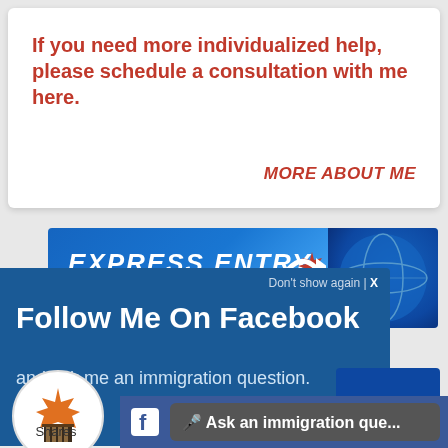If you need more individualized help, please schedule a consultation with me here.
MORE ABOUT ME
[Figure (screenshot): Express Entry banner with globe and arrow graphic]
Don't show again | X
Follow Me On Facebook
and ask me an immigration question.
[Figure (logo): Canadian immigration logo - maple leaf with building icon in a circle]
Shares
🎤 Ask an immigration que...